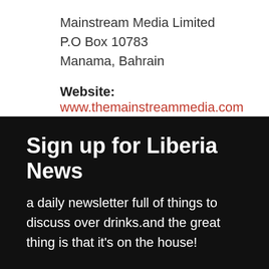Mainstream Media Limited
P.O Box 10783
Manama, Bahrain
Website: www.themainstreammedia.com
For any queries or comments, please use our contact form.
Sign up for Liberia News
a daily newsletter full of things to discuss over drinks.and the great thing is that it's on the house!